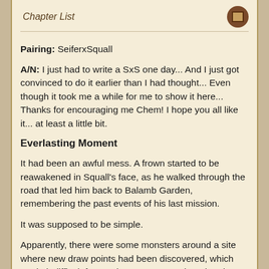Chapter List
Pairing: SeiferxSquall
A/N: I just had to write a SxS one day... And I just got convinced to do it earlier than I had thought... Even though it took me a while for me to show it here... Thanks for encouraging me Chem! I hope you all like it... at least a little bit.
Everlasting Moment
It had been an awful mess. A frown started to be reawakened in Squall's face, as he walked through the road that led him back to Balamb Garden, remembering the past events of his last mission.
It was supposed to be simple.
Apparently, there were some monsters around a site where new draw points had been discovered, which made it difficult for magic experts to explore the place. When Squall first heard of this mission, he knew that any average